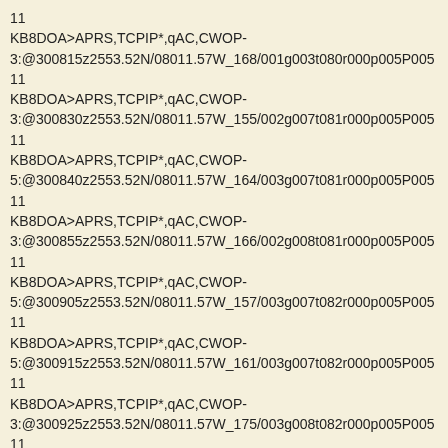11
KB8DOA>APRS,TCPIP*,qAC,CWOP-3:@300815z2553.52N/08011.57W_168/001g003t080r000p005P005
11
KB8DOA>APRS,TCPIP*,qAC,CWOP-3:@300830z2553.52N/08011.57W_155/002g007t081r000p005P005
11
KB8DOA>APRS,TCPIP*,qAC,CWOP-5:@300840z2553.52N/08011.57W_164/003g007t081r000p005P005
11
KB8DOA>APRS,TCPIP*,qAC,CWOP-3:@300855z2553.52N/08011.57W_166/002g008t081r000p005P005
11
KB8DOA>APRS,TCPIP*,qAC,CWOP-5:@300905z2553.52N/08011.57W_157/003g007t082r000p005P005
11
KB8DOA>APRS,TCPIP*,qAC,CWOP-5:@300915z2553.52N/08011.57W_161/003g007t082r000p005P005
11
KB8DOA>APRS,TCPIP*,qAC,CWOP-3:@300925z2553.52N/08011.57W_175/003g008t082r000p005P005
11
KB8DOA>APRS,TCPIP*,qAC,CWOP-3:@300935z2553.52N/08011.57W_164/003g007t082r000p005P005
11